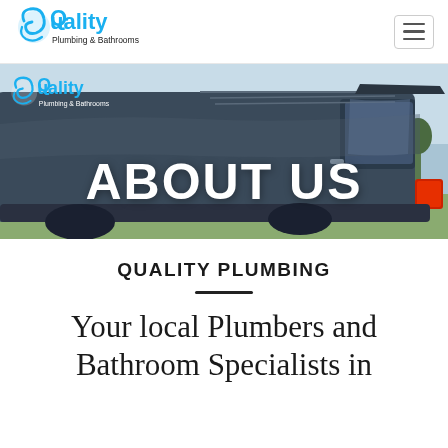[Figure (logo): Quality Plumbing & Bathrooms logo in navbar — blue swirl icon with 'Quality' in bold blue and 'Plumbing & Bathrooms' in dark text below]
[Figure (photo): Hero banner showing a dark grey/blue Volkswagen Transporter van from the rear-side angle, outdoors with trees in background. Overlaid with Quality Plumbing & Bathrooms logo top-left and large white bold text 'ABOUT US' in the center.]
QUALITY PLUMBING
Your local Plumbers and Bathroom Specialists in